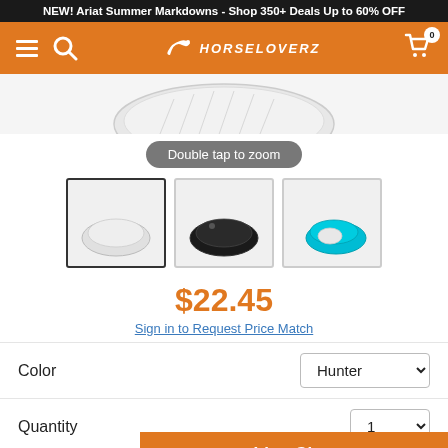NEW! Ariat Summer Markdowns - Shop 350+ Deals Up to 60% OFF
[Figure (screenshot): HorseLoverZ website navigation bar with hamburger menu, search icon, HorseLoverZ logo with horse graphic, and shopping cart icon with badge showing 0]
[Figure (photo): Product image area showing a white dressage saddle pad partially visible from top, with a 'Double tap to zoom' overlay button, and three thumbnail images below: white pad (selected), black pad, and turquoise/teal pad]
$22.45
Sign in to Request Price Match
Color	Hunter
Quantity	1
Live Chat